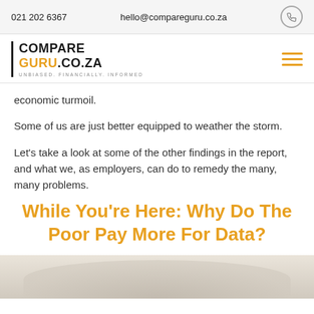021 202 6367   hello@compareguru.co.za
[Figure (logo): CompareGuru.co.za logo with tagline UNBIASED. FINANCIALLY. INFORMED and hamburger menu icon]
economic turmoil.
Some of us are just better equipped to weather the storm.
Let’s take a look at some of the other findings in the report, and what we, as employers, can do to remedy the many, many problems.
While You're Here: Why Do The Poor Pay More For Data?
[Figure (photo): Partial photo visible at bottom of page, showing muted beige/tan background suggesting a person or hands]